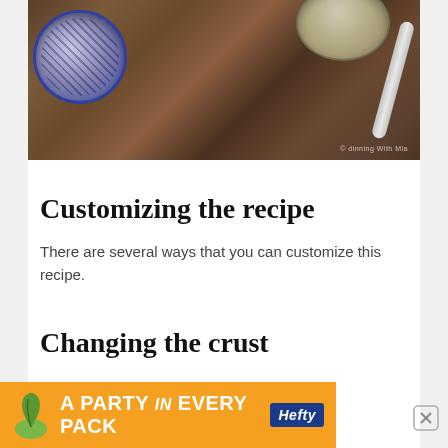[Figure (photo): Overhead photo of cooking ingredients on a dark rusty surface: a blue patterned bowl with dark seeds/spices on the left, a metal bowl with breadcrumbs or flour and a metal spoon on the right.]
Customizing the recipe
There are several ways that you can customize this recipe.
Changing the crust
[Figure (other): Advertisement banner: orange background with green avocado icon, text 'A PARTY in EVERY PACK' with Hefty logo in blue badge.]